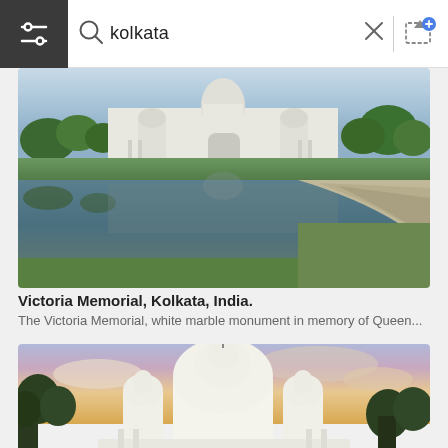kolkata
[Figure (photo): Victoria Memorial building reflected in a pool of water, surrounded by green trees, Kolkata, India. White marble monument photographed from across a large reflecting pool with curved stone steps on the right side.]
Victoria Memorial, Kolkata, India.
The Victoria Memorial, white marble monument in memory of Queen...
[Figure (photo): Victoria Memorial building photographed at sunset/dusk with dramatic pink and blue sky, white marble domes and towers visible, trees in the foreground.]